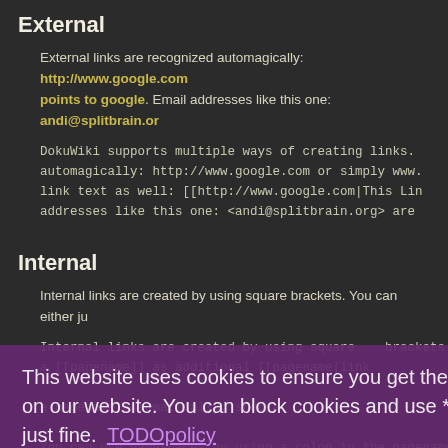External
External links are recognized automagically: http://www.google.com points to google. Email addresses like this one: andi@splitbrain.or
DokuWiki supports multiple ways of creating links. automagically: http://www.google.com or simply www. link text as well: [[http://www.google.com|This Lin addresses like this one: <andi@splitbrain.org> are
Internal
Internal links are created by using square brackets. You can either ju
Internal links are created by using square brackets. a [[pagename]] as additional [[pagename|link
This website uses cookies to ensure you get the best experience on our website. You can block cookies and use *most* of the site just fine. TODOpolicy
Got it!
You can use namespaces by using a colon in the pagename.
You can use [[some:namespaces]] by using a colon in
For details about namespaces see namespaces.
Linking to a specific section is possible, too. Just add the section nam